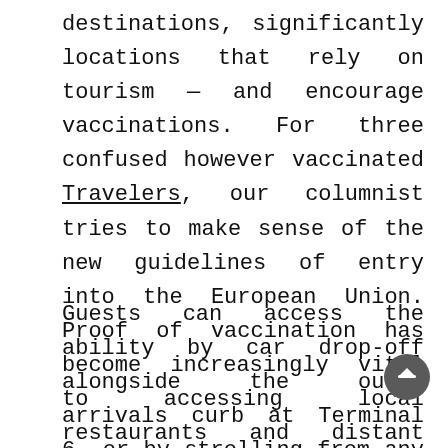destinations, significantly locations that rely on tourism — and encourage vaccinations. For three confused however vaccinated Travelers, our columnist tries to make sense of the new guidelines of entry into the European Union. Proof of vaccination has become increasingly vital to accessing local restaurants and distant international locations alike.
Guests can access the ability by car drop-off alongside the outer arrivals curb at Terminal 6, or by strolling from any of the parking structures. For pedestrians coming from Terminals 1, 2 and 3 a shorter path to the testing site is feasible along East Way. There